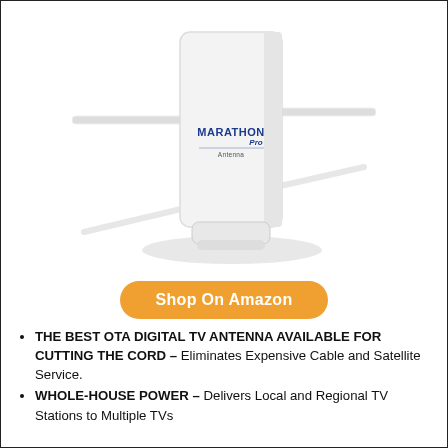[Figure (photo): A white OTA digital TV antenna with the MarathonPro brand logo, standing upright on a white base with two horizontal dipole elements extending from the sides, casting a shadow on a white background.]
Shop On Amazon
THE BEST OTA DIGITAL TV ANTENNA AVAILABLE FOR CUTTING THE CORD – Eliminates Expensive Cable and Satellite Service.
WHOLE-HOUSE POWER – Delivers Local and Regional TV Stations to Multiple TVs